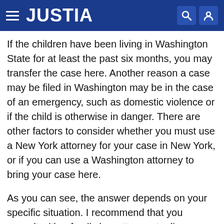JUSTIA
If the children have been living in Washington State for at least the past six months, you may transfer the case here. Another reason a case may be filed in Washington may be in the case of an emergency, such as domestic violence or if the child is otherwise in danger. There are other factors to consider whether you must use a New York attorney for your case in New York, or if you can use a Washington attorney to bring your case here.
As you can see, the answer depends on your specific situation. I recommend that you consult with a family law attorney to discuss the details of your particular issues, since every situation is different.
I agree with this answer